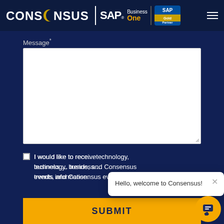[Figure (logo): Consensus SAP Business One Gold Partner logo and navigation header with hamburger menu]
Message*
[Figure (screenshot): Empty white textarea input field for message entry with resize handle]
I would like to receive technology, business trends, and Consensus events information.
[Figure (screenshot): Chat popup with text 'Hello, welcome to Consensus!' and close button, with orange chat bubble button]
SUBMIT